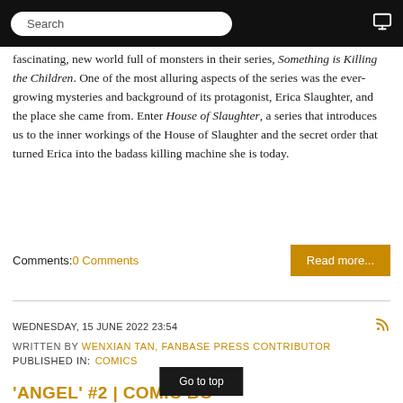Search
fascinating, new world full of monsters in their series, Something is Killing the Children. One of the most alluring aspects of the series was the ever-growing mysteries and background of its protagonist, Erica Slaughter, and the place she came from. Enter House of Slaughter, a series that introduces us to the inner workings of the House of Slaughter and the secret order that turned Erica into the badass killing machine she is today.
Comments: 0 Comments
WEDNESDAY, 15 JUNE 2022 23:54
WRITTEN BY WENXIAN TAN, FANBASE PRESS CONTRIBUTOR
PUBLISHED IN: COMICS
'ANGEL' #2 | COMIC BO... ...VIEW